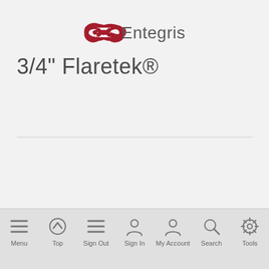[Figure (logo): Entegris company logo with red infinity-like symbol and gray text 'Entegris']
3/4" Flaretek®
Showing 0 Products
RELATED PRODUCT CATEGORIES
Menu  Top  Sign Out  Sign In  My Account  Search  Tools